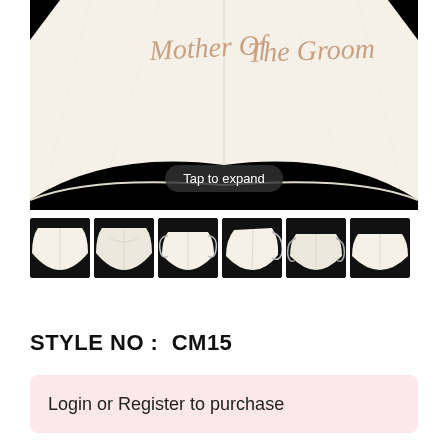[Figure (photo): Close-up photo of a cream/ivory face mask with 'Mother Of The Groom' embroidered in rose gold script lettering, shown against a black background with a 'Tap to expand' overlay button.]
[Figure (photo): Row of six thumbnail images showing various views of a cream/ivory embroidered face mask: front view, inside view, side views with ear loops, and two smaller thumbnails showing the mask worn or laid flat.]
STYLE NO :  CM15
Login or Register to purchase